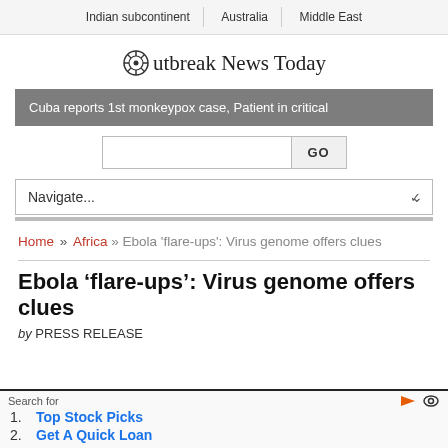Indian subcontinent | Australia | Middle East
Outbreak News Today
Cuba reports 1st monkeypox case, Patient in critical
Navigate...
Home » Africa » Ebola 'flare-ups': Virus genome offers clues
Ebola ‘flare-ups’: Virus genome offers clues
by PRESS RELEASE
Search for
1. Top Stock Picks
2. Get A Quick Loan